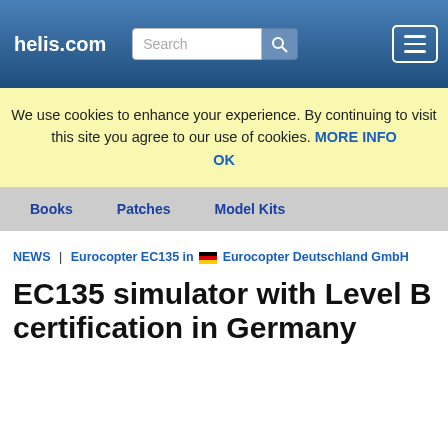helis.com
We use cookies to enhance your experience. By continuing to visit this site you agree to our use of cookies. MORE INFO OK
Books | Patches | Model Kits
NEWS | Eurocopter EC135 in Eurocopter Deutschland GmbH
EC135 simulator with Level B certification in Germany